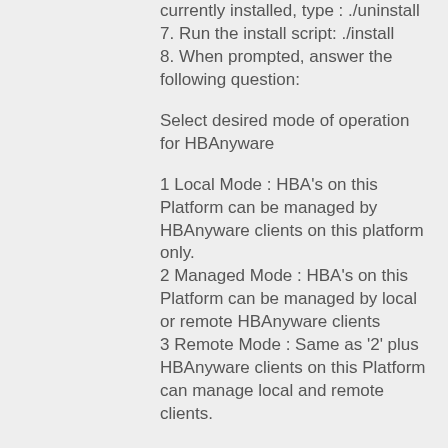currently installed, type : ./uninstall
7. Run the install script: ./install
8. When prompted, answer the following question:
Select desired mode of operation for HBAnyware
1 Local Mode : HBA's on this Platform can be managed by HBAnyware clients on this platform only.
2 Managed Mode : HBA's on this Platform can be managed by local or remote HBAnyware clients
3 Remote Mode : Same as '2' plus HBAnyware clients on this Platform can manage local and remote clients.
Enter the number '1' or '2' or '3'
9. When prompted, answer the following question:
Do you want to allow user to make subsequent management mode changes
using 'set_operating_mode' script
Enter the letter 'Y' for yes or 'N' for no
10. Installation Complete: type